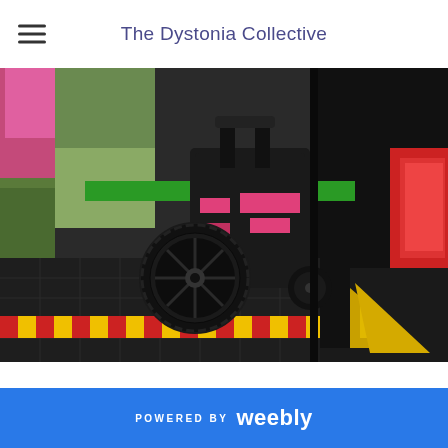The Dystonia Collective
[Figure (photo): A pink-and-black decorated wheelchair being loaded onto a vehicle lift/ramp with yellow-and-red hazard striping. A green bar is visible across the frame. People in bright clothing are visible in the background.]
POWERED BY weebly